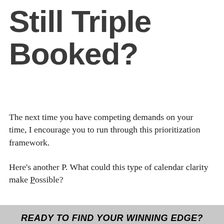Still Triple Booked?
The next time you have competing demands on your time, I encourage you to run through this prioritization framework.
Here’s another P. What could this type of calendar clarity make Possible?
READY TO FIND YOUR WINNING EDGE?
Subscribe to get my weekly email with one business lesson you can read in three minutes or less
&